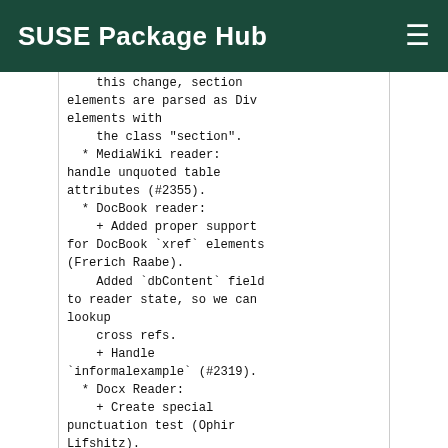SUSE Package Hub
this change, section
elements are parsed as Div
elements with
    the class "section".
  * MediaWiki reader:
handle unquoted table
attributes (#2355).
  * DocBook reader:
    + Added proper support
for DocBook `xref` elements
(Frerich Raabe).
    Added `dbContent` field
to reader state, so we can
lookup
    cross refs.
    + Handle
`informalexample` (#2319).
  * Docx Reader:
    + Create special
punctuation test (Ophir
Lifshitz).
    + Parse soft, no-break
hyphen elements (Ophir
Lifshitz).
    + Updated headers test
(Ophir Lifshitz). Replaced
`styles.xml`
    in `headers.docx` with
pandoc's current
`styles.xml`, which
    contains styles for
Heading 1 through 6. Added
Heading 4
    through 7 to the test